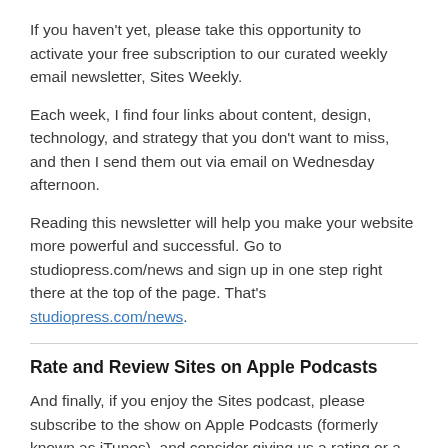If you haven't yet, please take this opportunity to activate your free subscription to our curated weekly email newsletter, Sites Weekly.
Each week, I find four links about content, design, technology, and strategy that you don't want to miss, and then I send them out via email on Wednesday afternoon.
Reading this newsletter will help you make your website more powerful and successful. Go to studiopress.com/news and sign up in one step right there at the top of the page. That's studiopress.com/news.
Rate and Review Sites on Apple Podcasts
And finally, if you enjoy the Sites podcast, please subscribe to the show on Apple Podcasts (formerly known as iTunes), and consider giving us a rating or a